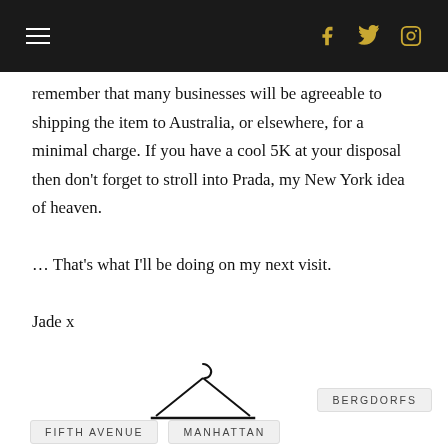≡  f  𝕥  📷
remember that many businesses will be agreeable to shipping the item to Australia, or elsewhere, for a minimal charge. If you have a cool 5K at your disposal then don't forget to stroll into Prada, my New York idea of heaven.

… That's what I'll be doing on my next visit.

Jade x
[Figure (illustration): A clothes hanger icon in black outline]
BERGDORFS
FIFTH AVENUE
MANHATTAN
NEW YORK
ZARA